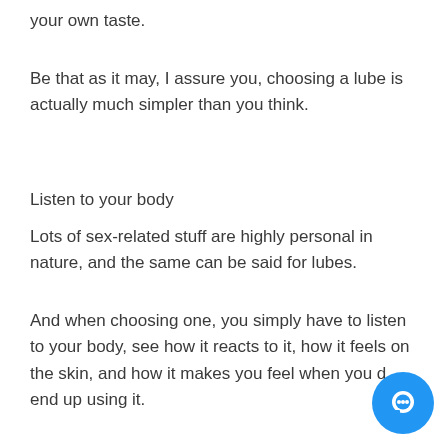your own taste.
Be that as it may, I assure you, choosing a lube is actually much simpler than you think.
Listen to your body
Lots of sex-related stuff are highly personal in nature, and the same can be said for lubes.
And when choosing one, you simply have to listen to your body, see how it reacts to it, how it feels on the skin, and how it makes you feel when you do end up using it.
[Figure (other): Blue circular chat button with white chat bubble icon in the bottom right corner]